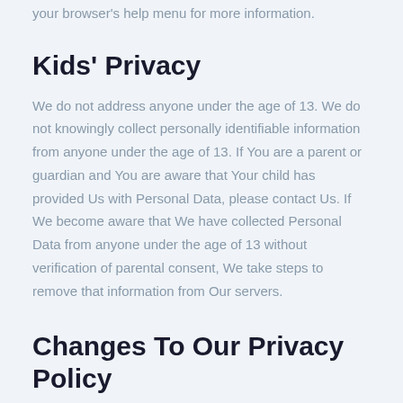your browser's help menu for more information.
Kids' Privacy
We do not address anyone under the age of 13. We do not knowingly collect personally identifiable information from anyone under the age of 13. If You are a parent or guardian and You are aware that Your child has provided Us with Personal Data, please contact Us. If We become aware that We have collected Personal Data from anyone under the age of 13 without verification of parental consent, We take steps to remove that information from Our servers.
Changes To Our Privacy Policy